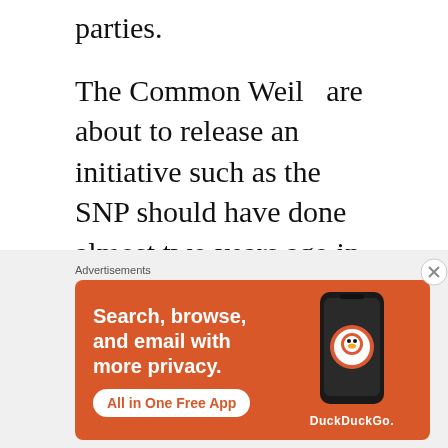parties.
The Common Weil  are about to release an initiative such as the SNP should have done almost two years ago in an attempt to address the issues we lost the last referendum on, I wish them well in this  and any assistance through the Dundee Yes Bus team will be willingly given. It will ,I am sure ,be a different experience from trying to organise independence related events in Dundee only to
[Figure (infographic): DuckDuckGo advertisement banner with orange background. Text reads: 'Search, browse, and email with more privacy. All in One Free App' with DuckDuckGo logo and phone graphic.]